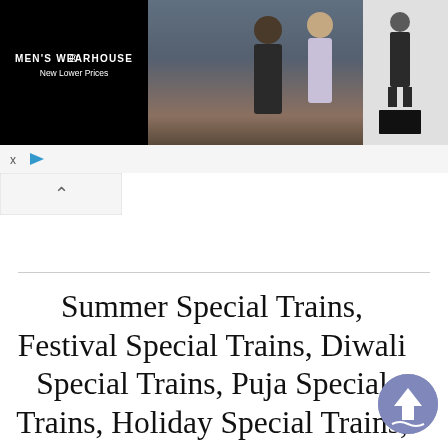[Figure (screenshot): Men's Wearhouse advertisement banner with black background on left showing brand name and 'New Lower Prices' text, center showing a couple in formal wear, right panel showing a suit figure and dark rectangle]
[Figure (screenshot): Ad controls row with X close button and play triangle button, followed by a collapse/chevron up button]
Summer Special Trains, Festival Special Trains, Diwali Special Trains, Puja Special Trains, Holiday Special Trains, Ganpati Special Trains